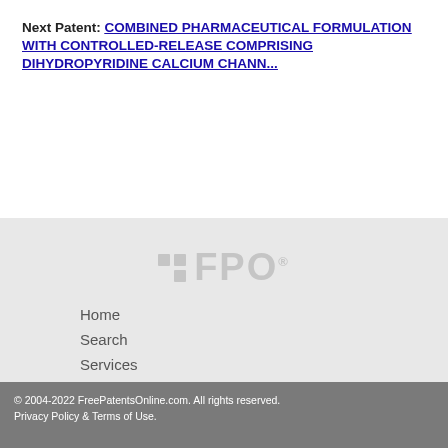Next Patent: COMBINED PHARMACEUTICAL FORMULATION WITH CONTROLLED-RELEASE COMPRISING DIHYDROPYRIDINE CALCIUM CHANN...
[Figure (logo): FPO logo with grid squares and bold FPO text in light gray]
Home
Search
Services
Contact us
[Figure (infographic): Three social media icon buttons: Twitter (t), LinkedIn (in), Email (envelope) in teal/blue rounded squares]
© 2004-2022 FreePatentsOnline.com. All rights reserved. Privacy Policy & Terms of Use.